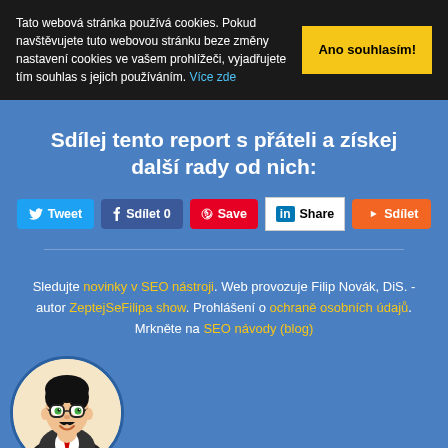Tato webová stránka používá cookies. Pokud navštěvujete tuto webovou stránku beze změny nastavení cookies ve vašem prohlížeči, vyjadřujete tím souhlas s jejich používáním. Více zde
Ano souhlasím!
Sdílej tento report s přáteli a získej další rady od nich:
[Figure (screenshot): Social share buttons: Tweet (Twitter/blue), Sdílet 0 (Facebook/dark blue), Save (Pinterest/red), Share (LinkedIn/white), Sdílet (YouTube/orange)]
Sledujte novinky v SEO nástroji. Web provozuje Filip Novák, DiS. - autor ZeptejSeFilipa show. Prohlášení o ochraně osobních údajů. Mrkněte na SEO návody (blog)
[Figure (illustration): Cartoon avatar of a man in a circle, bottom left corner]